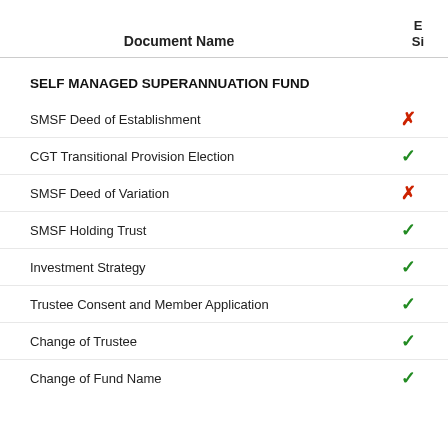| Document Name | E-Sign Si… |
| --- | --- |
| SMSF Deed of Establishment | ✗ |
| CGT Transitional Provision Election | ✓ |
| SMSF Deed of Variation | ✗ |
| SMSF Holding Trust | ✓ |
| Investment Strategy | ✓ |
| Trustee Consent and Member Application | ✓ |
| Change of Trustee | ✓ |
| Change of Fund Name | ✓ |